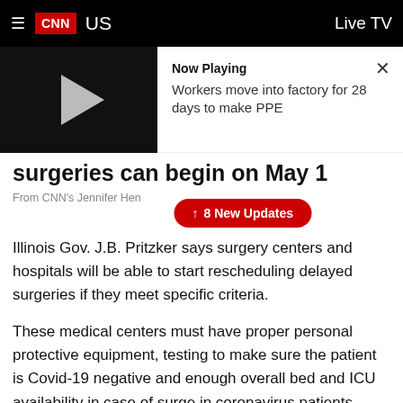CNN US | Live TV
[Figure (screenshot): CNN video player showing play button on left, 'Now Playing' label with text 'Workers move into factory for 28 days to make PPE' on right, with close (X) button]
surgeries can begin on May 1
From CNN's Jennifer Hen…
↑ 8 New Updates
Illinois Gov. J.B. Pritzker says surgery centers and hospitals will be able to start rescheduling delayed surgeries if they meet specific criteria.
These medical centers must have proper personal protective equipment, testing to make sure the patient is Covid-19 negative and enough overall bed and ICU availability in case of surge in coronavirus patients, Pritzker said.
Pritzker said the exact guidelines will be announced by